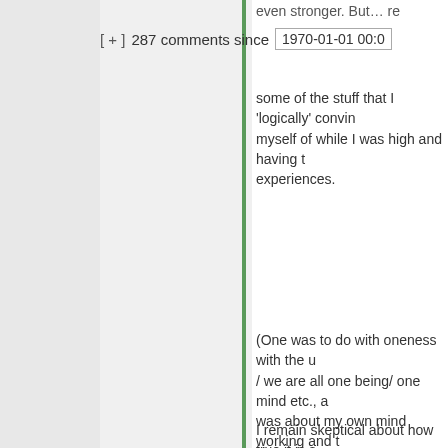[ + ]  287 comments since  1970-01-01 00:0
some of the stuff that I 'logically' convinced myself of while I was high and having these experiences.
(One was to do with oneness with the universe / we are all one being/ one mind etc., another was about my own mind working and the different parta of my mind seeming to be independently arguing with each other and reaching a high level consensus which I normally would think, whereas at the time was able to 'listen' to the individual parts (e.g. 'bit in charge of hunger' telling the rest of brain to STFU about all this introspection and get some food, which I ended up doing)
I remain skeptical about how true it is s